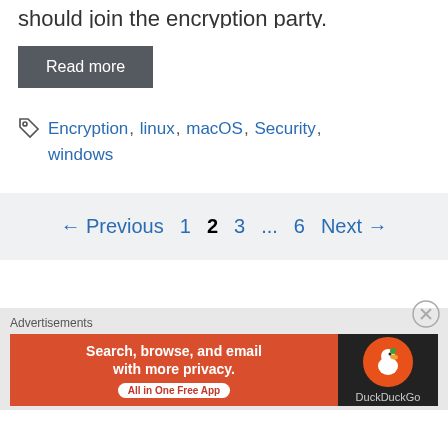should join the encryption party.
Read more
Encryption, linux, macOS, Security, windows
← Previous 1 2 3 ... 6 Next →
Search, browse, and email with more privacy. All in One Free App